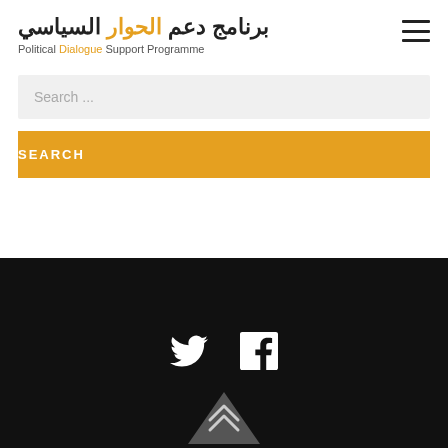برنامج دعم الحوار السياسي — Political Dialogue Support Programme
Search ...
SEARCH
[Figure (illustration): Twitter and Facebook social media icons in white on black background]
[Figure (illustration): Scroll-to-top chevron arrow button at bottom center]